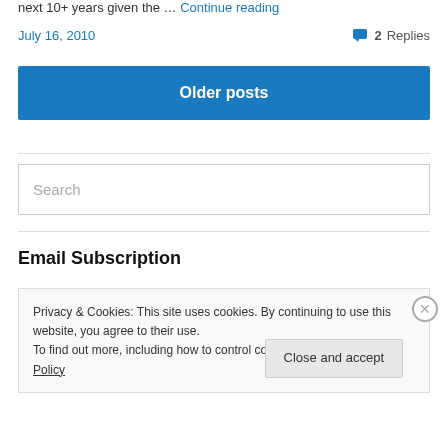next 10+ years given the … Continue reading
July 16, 2010   2 Replies
Older posts
Search
Email Subscription
Privacy & Cookies: This site uses cookies. By continuing to use this website, you agree to their use.
To find out more, including how to control cookies, see here: Cookie Policy
Close and accept